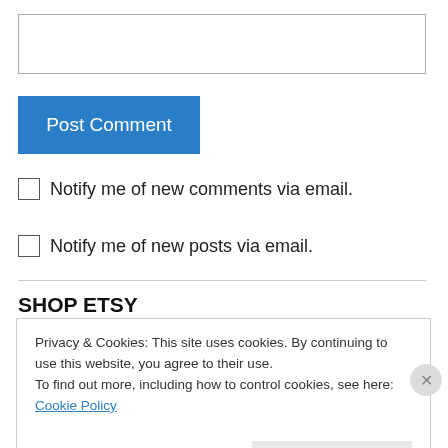[Figure (screenshot): Text input box for entering a comment]
Post Comment
Notify me of new comments via email.
Notify me of new posts via email.
SHOP ETSY
Privacy & Cookies: This site uses cookies. By continuing to use this website, you agree to their use.
To find out more, including how to control cookies, see here: Cookie Policy
Close and accept